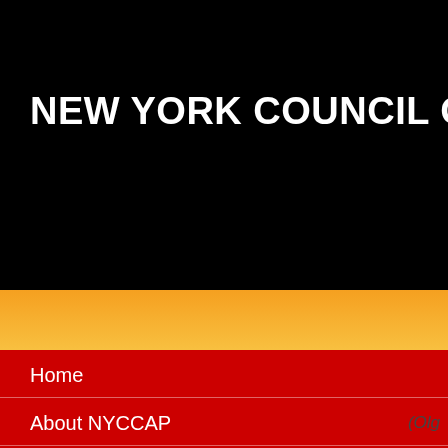NEW YORK COUNCIL ON CH
Home
About NYCCAP
NYCCAP's COVID-19 Resources
Events
Members Area *
Employment Opportunities
(Olg